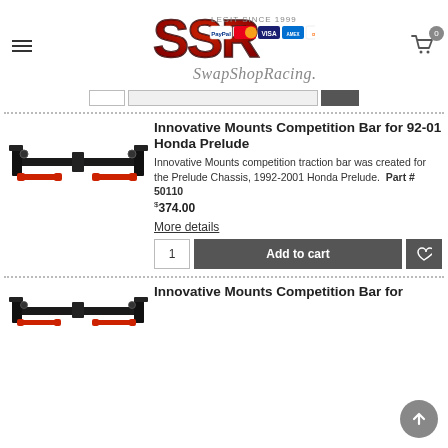SwapShopRacing.com - SSR logo header with navigation and cart
[Figure (logo): SSR SwapShopRacing.com logo with red 3D letters, payment card icons (PayPal, Mastercard, Visa, Amex, Discover) and tagline 'Legit Since 1999']
Innovative Mounts Competition Bar for 92-01 Honda Prelude
Innovative Mounts competition traction bar was created for the Prelude Chassis, 1992-2001 Honda Prelude.  Part # 50110
$374.00
More details
[Figure (photo): Black metal competition traction bar with red adjustable end links for Honda Prelude]
Innovative Mounts Competition Bar for